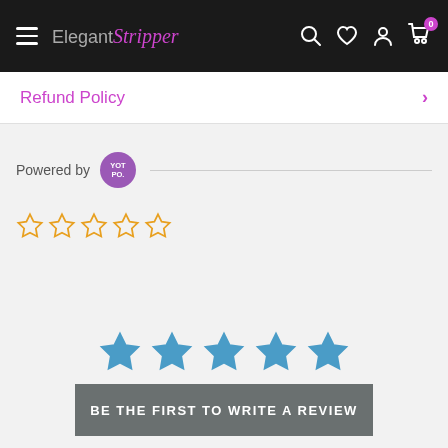Elegant Stripper — navigation header with hamburger menu, logo, search, wishlist, account, and cart icons
Refund Policy
Powered by YOTPO
[Figure (other): Five empty gold star rating icons (0 out of 5 stars)]
[Figure (other): Five filled blue star icons for rating selection]
BE THE FIRST TO WRITE A REVIEW